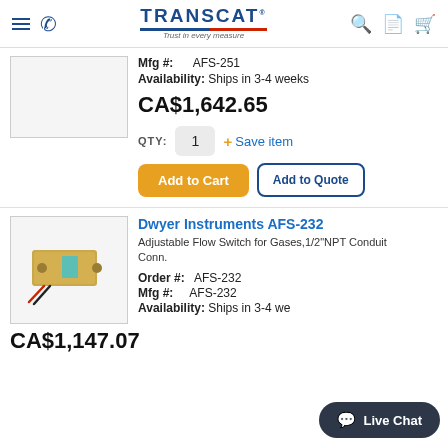TRANSCAT – Trust in every measure
Mfg #: AFS-251
Availability: Ships in 3-4 weeks
CA$1,642.65
QTY: 1  + Save item
Add to Cart | Add to Quote
[Figure (photo): Product image placeholder (first product)]
Dwyer Instruments AFS-232
Adjustable Flow Switch for Gases,1/2"NPT Conduit Conn.
Order #: AFS-232
Mfg #: AFS-232
Availability: Ships in 3-4 weeks
[Figure (photo): Photo of Dwyer Instruments AFS-232 flow switch – brass rectangular body with red/black wires]
CA$1,147.07
Live Chat